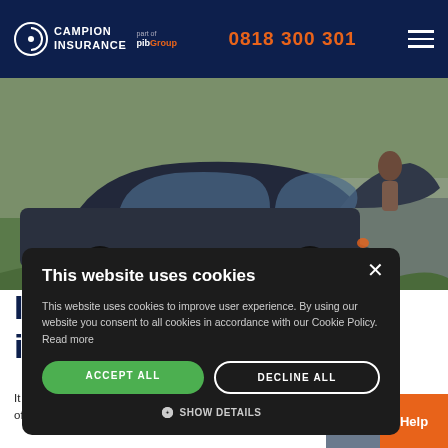Campion Insurance | part of PIB Group | 0818 300 301
[Figure (photo): A car with its hood open, parked by a roadside with green grass in background. A person is looking under the hood.]
...e car i...sive?
It...e highes of cover must be the most expensive car ins
[Figure (screenshot): Cookie consent modal overlay with title 'This website uses cookies', body text about cookie policy, ACCEPT ALL and DECLINE ALL buttons, and SHOW DETAILS option.]